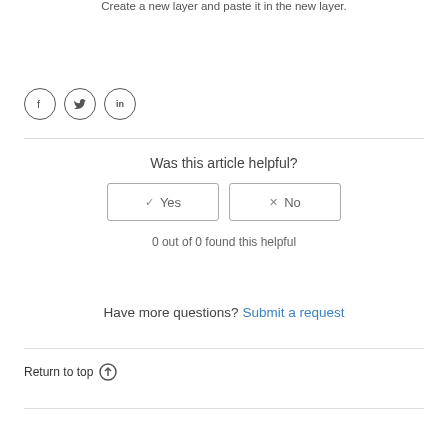Create a new layer and paste it in the new layer.
[Figure (other): Three social sharing icons: Facebook (f), Twitter (bird), LinkedIn (in), each in a circle]
Was this article helpful?
✓ Yes  ✗ No (vote buttons)
0 out of 0 found this helpful
Have more questions? Submit a request
Return to top ↑